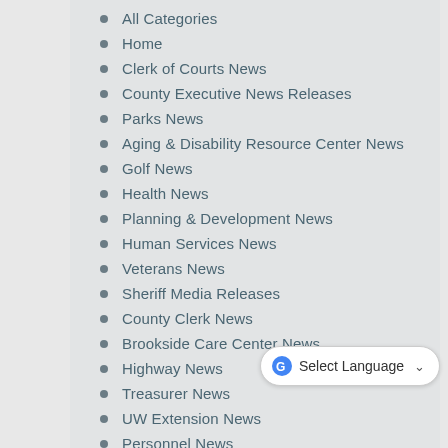All Categories
Home
Clerk of Courts News
County Executive News Releases
Parks News
Aging & Disability Resource Center News
Golf News
Health News
Planning & Development News
Human Services News
Veterans News
Sheriff Media Releases
County Clerk News
Brookside Care Center News
Highway News
Treasurer News
UW Extension News
Personnel News
Children and Family Services
Medical Examiner's Office
Emergency Management
Register of Deeds News